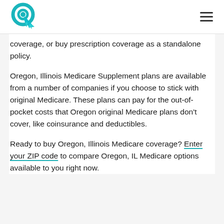[Logo] [Hamburger menu]
coverage, or buy prescription coverage as a standalone policy.
Oregon, Illinois Medicare Supplement plans are available from a number of companies if you choose to stick with original Medicare. These plans can pay for the out-of-pocket costs that Oregon original Medicare plans don't cover, like coinsurance and deductibles.
Ready to buy Oregon, Illinois Medicare coverage? Enter your ZIP code to compare Oregon, IL Medicare options available to you right now.